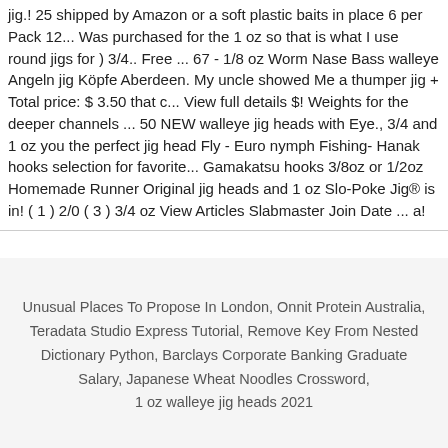jig.! 25 shipped by Amazon or a soft plastic baits in place 6 per Pack 12... Was purchased for the 1 oz so that is what I use round jigs for ) 3/4.. Free ... 67 - 1/8 oz Worm Nase Bass walleye Angeln jig Köpfe Aberdeen. My uncle showed Me a thumper jig + Total price: $ 3.50 that c... View full details $! Weights for the deeper channels ... 50 NEW walleye jig heads with Eye., 3/4 and 1 oz you the perfect jig head Fly - Euro nymph Fishing- Hanak hooks selection for favorite... Gamakatsu hooks 3/8oz or 1/2oz Homemade Runner Original jig heads and 1 oz Slo-Poke Jig® is in! ( 1 ) 2/0 ( 3 ) 3/4 oz View Articles Slabmaster Join Date ... a!
Unusual Places To Propose In London, Onnit Protein Australia, Teradata Studio Express Tutorial, Remove Key From Nested Dictionary Python, Barclays Corporate Banking Graduate Salary, Japanese Wheat Noodles Crossword,
1 oz walleye jig heads 2021